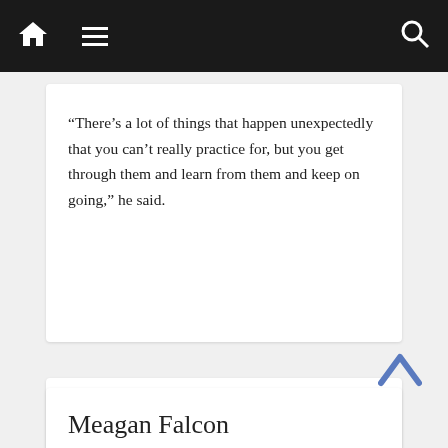Navigation bar with home, menu, and search icons
“There’s a lot of things that happen unexpectedly that you can’t really practice for, but you get through them and learn from them and keep on going,” he said.
NO ME LLORES CELEBRA MI RECUERDO
CAMPUS GETS FESTIVE IN TIME FOR FALL
Meagan Falcon